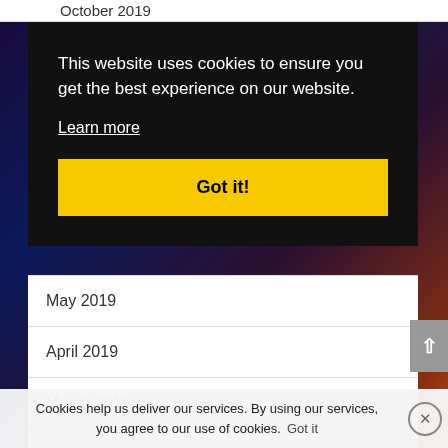October 2019
This website uses cookies to ensure you get the best experience on our website.
Learn more
Got it!
May 2019
April 2019
March 2019
February 2019
Cookies help us deliver our services. By using our services, you agree to our use of cookies. Got it